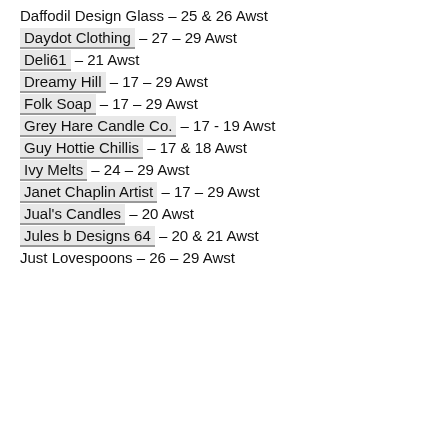Daffodil Design Glass – 25 & 26 Awst
Daydot Clothing – 27 – 29 Awst
Deli61 – 21 Awst
Dreamy Hill – 17 – 29 Awst
Folk Soap – 17 – 29 Awst
Grey Hare Candle Co. – 17 - 19 Awst
Guy Hottie Chillis – 17 & 18 Awst
Ivy Melts – 24 – 29 Awst
Janet Chaplin Artist – 17 – 29 Awst
Jual's Candles – 20 Awst
Jules b Designs 64 – 20 & 21 Awst
Just Lovespoons – 26 – 29 Awst